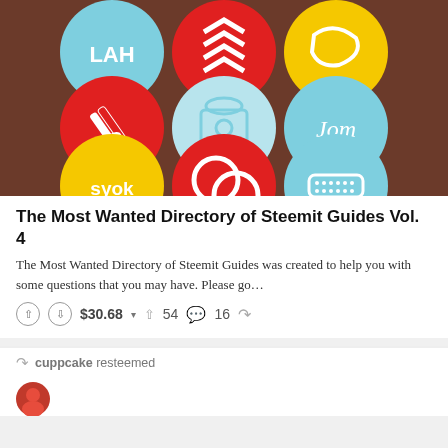[Figure (photo): Nine decorative circular plates arranged in a 3x3 grid on a dark wood background. Top row: light blue plate with 'LAH' text, red plate with white chevron/arrow pattern, yellow plate with white banana/chili. Middle row: red plate with white clothespin, light blue plate with white vintage telephone, light blue plate with 'Jom' script text. Bottom row: yellow plate with 'syok' text, red plate with circular face/logo design, light blue plate with white remote control.]
The Most Wanted Directory of Steemit Guides Vol. 4
The Most Wanted Directory of Steemit Guides was created to help you with some questions that you may have. Please go...
↑  ↓  $30.68 ▾  ↑ 54  💬 16  ↻
↻ cuppcake resteemed